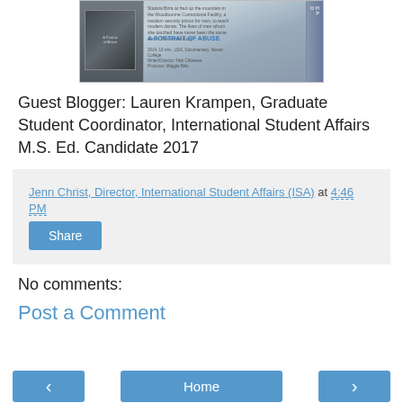[Figure (photo): Photo of a film festival program page showing documentary listings including 'A Portrait of Abuse' (2014, documentary, Vassar College, Writer/Director: Nick Chianese, Producer: Maggie Birls)]
Guest Blogger: Lauren Krampen, Graduate Student Coordinator, International Student Affairs M.S. Ed. Candidate 2017
Jenn Christ, Director, International Student Affairs (ISA) at 4:46 PM
Share
No comments:
Post a Comment